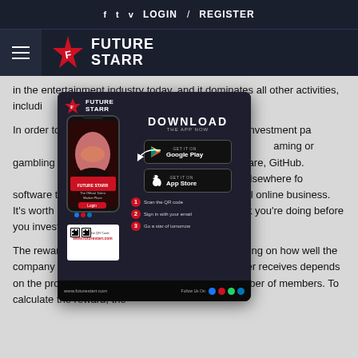f  t  v  LOGIN  /  REGISTER
[Figure (logo): FutureStarr logo with hamburger menu icon on dark navy background]
[Figure (infographic): FutureStarr app download popup showing phone mockup, DOWNLOAD THE APP NOW heading, Google Play and App Store buttons, QR code, and step-by-step instructions]
in the entertainment industry today, and it dominates all other activities, including poker, and bingo.
In order to access it first purchase an investment package. Once logged, you'll receive an educational package for gaming or gambling apps. The app uses freely available software, GitHub. If you don't find it on GitHub, you should look elsewhere for software that will help you build your own successful online business. It's worth investing in, but make sure you know what you're doing before you invest money in this company.
The rewards are issued weekly or quarterly depending on how well the company is doing. The amount of rewards a member receives depends on the profits that the company makes and the number of members. To calculate the reward, the